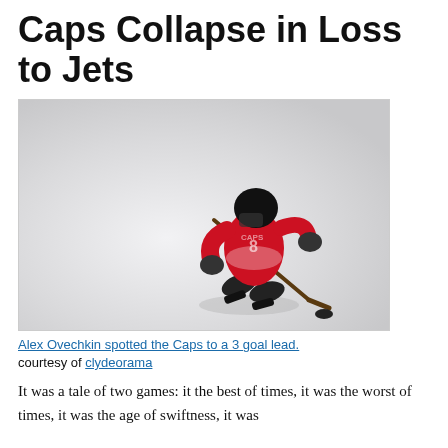Caps Collapse in Loss to Jets
[Figure (photo): Alex Ovechkin in a red Washington Capitals jersey skating on ice, leaning forward with a hockey stick, about to shoot a puck.]
Alex Ovechkin spotted the Caps to a 3 goal lead.
courtesy of clydeorama
It was a tale of two games: it the best of times, it was the worst of times, it was the age of swiftness, it was